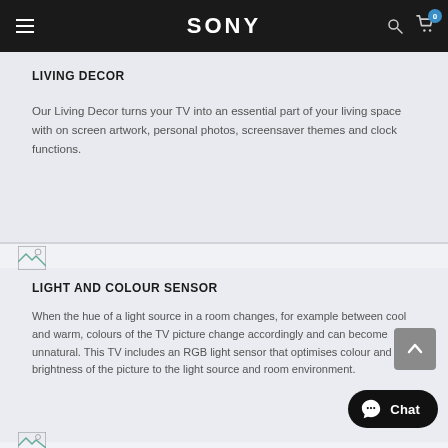SONY
LIVING DECOR
Our Living Decor turns your TV into an essential part of your living space with on screen artwork, personal photos, screensaver themes and clock functions.
[Figure (illustration): Broken image placeholder icon]
LIGHT AND COLOUR SENSOR
When the hue of a light source in a room changes, for example between cool and warm, colours of the TV picture change accordingly and can become unnatural. This TV includes an RGB light sensor that optimises colour and brightness of the picture to the light source and room environment.
[Figure (illustration): Broken image placeholder icon (bottom)]